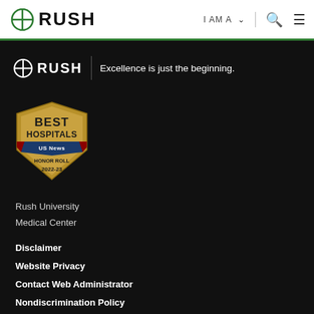RUSH | I AM A ∨ 🔍 ☰
[Figure (logo): RUSH logo with tagline: Excellence is just the beginning.]
[Figure (logo): U.S. News Best Hospitals Honor Roll 2022-23 badge]
Rush University
Medical Center
Disclaimer
Website Privacy
Contact Web Administrator
Nondiscrimination Policy